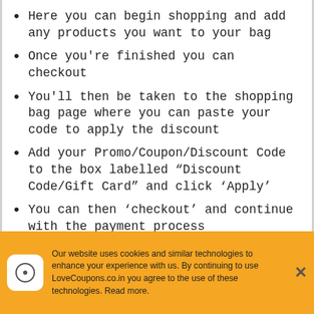Here you can begin shopping and add any products you want to your bag
Once you're finished you can checkout
You'll then be taken to the shopping bag page where you can paste your code to apply the discount
Add your Promo/Coupon/Discount Code to the box labelled “Discount Code/Gift Card” and click ‘Apply’
You can then ‘checkout’ and continue with the payment process
Our website uses cookies and similar technologies to enhance your experience with us. By continuing to use LoveCoupons.co.in you agree to the use of these technologies. Read more.